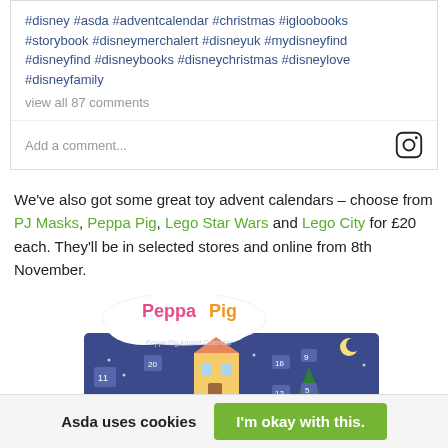#disney #asda #adventcalendar #christmas #igloobooks #storybook #disneymerchalert #disneyuk #mydisneyfind #disneyfind #disneybooks #disneychristmas #disneylove #disneyfamily
view all 87 comments
Add a comment...
We've also got some great toy advent calendars – choose from PJ Masks, Peppa Pig, Lego Star Wars and Lego City for £20 each. They'll be in selected stores and online from 8th November.
[Figure (photo): Peppa Pig Advent Calendar box with purple background and numbered doors]
Asda uses cookies    I'm okay with this.